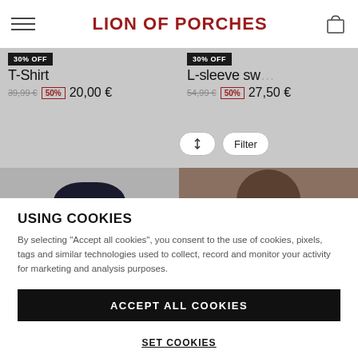LION OF PORCHES
30% OFF — T-Shirt — 39,99 € 50% 20,00 €
30% OFF — L-sleeve sw… 54,99 € 50% 27,50 €
[Figure (screenshot): Product photos of clothing items on grey background, second row partially visible]
USING COOKIES
By selecting "Accept all cookies", you consent to the use of cookies, pixels, tags and similar technologies used to collect, record and monitor your activity for marketing and analysis purposes.
ACCEPT ALL COOKIES
SET COOKIES